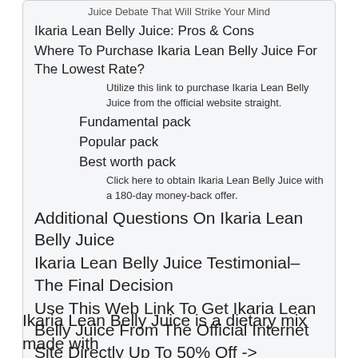Juice Debate That Will Strike Your Mind
Ikaria Lean Belly Juice: Pros & Cons
Where To Purchase Ikaria Lean Belly Juice For The Lowest Rate?
Utilize this link to purchase Ikaria Lean Belly Juice from the official website straight.
Fundamental pack
Popular pack
Best worth pack
Click here to obtain Ikaria Lean Belly Juice with a 180-day money-back offer.
Additional Questions On Ikaria Lean Belly Juice
Ikaria Lean Belly Juice Testimonial– The Final Decision
Use This Web Link To Get Ikaria Lean Belly Juice From The Official Internet Site Directly Up To 50% Off ->
Ikaria Lean Belly Juice is a dietary mix made with